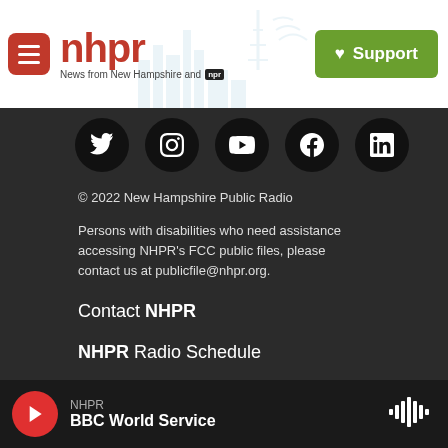NHPR - News from New Hampshire and NPR | Support
[Figure (logo): NHPR logo with hamburger menu icon, red background, red text 'nhpr', tagline 'News from New Hampshire and NPR', green Support button with heart icon]
[Figure (infographic): Row of 5 social media icon circles (Twitter, Instagram, YouTube, Facebook, LinkedIn) on dark background]
© 2022 New Hampshire Public Radio
Persons with disabilities who need assistance accessing NHPR's FCC public files, please contact us at publicfile@nhpr.org.
Contact NHPR
NHPR Radio Schedule
Job Opportunities
Public File
Terms Of Use
NHPR | BBC World Service